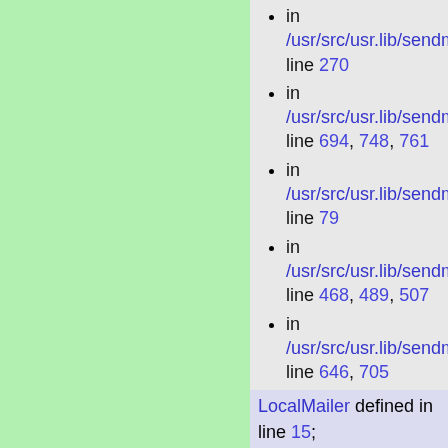in /usr/src/usr.lib/sendmail line 270
in /usr/src/usr.lib/sendmail line 694, 748, 761
in /usr/src/usr.lib/sendmail line 79
in /usr/src/usr.lib/sendmail line 468, 489, 507
in /usr/src/usr.lib/sendmail line 646, 705
LocalMailer defined in line 15; used 13 times
in /usr/src/usr.lib/sendmail line 478, 575
in /usr/src/usr.lib/sendmail line 490
in /usr/src/usr.lib/sendmail